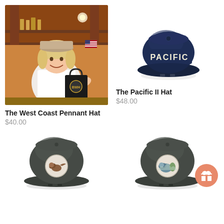[Figure (photo): Woman smiling in a store/bar interior holding a black shopping bag with BWH logo, wearing a hat, with American flag and wooden bar shelving in background]
The West Coast Pennant Hat
$40.00
[Figure (photo): Navy blue flat-brim snapback hat with 'PACIFIC' text in cream/white letters on the front]
The Pacific II Hat
$48.00
[Figure (photo): Dark olive/charcoal green snapback hat with a circular patch on the front showing a bird]
[Figure (photo): Dark olive/charcoal green snapback hat with a circular patch on the front, with a salmon/coral pink gift icon badge in the lower right corner]